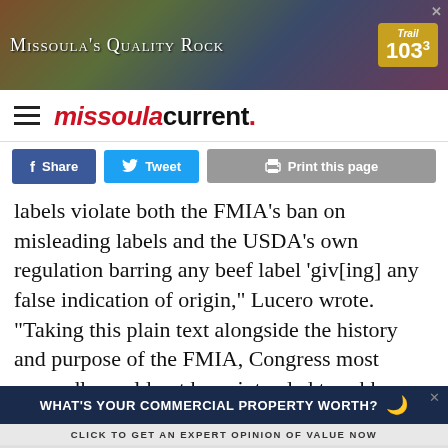[Figure (screenshot): Advertisement banner for Trail 103.3 radio station with rock/stone background and text 'Missoula's Quality Rock']
missoula current.
Share   Tweet   Print this page
labels violate both the FMIA's ban on misleading labels and the USDA's own regulation barring any beef label 'giv[ing] any false indication of origin,' Lucero wrote. "Taking this plain text alongside the history and purpose of the FMIA, Congress most assuredly could not have intended to rubber stamp deception as to the national origin of beef."
[Figure (screenshot): Advertisement banner asking 'What's your commercial property worth? Click to get an expert opinion of value now']